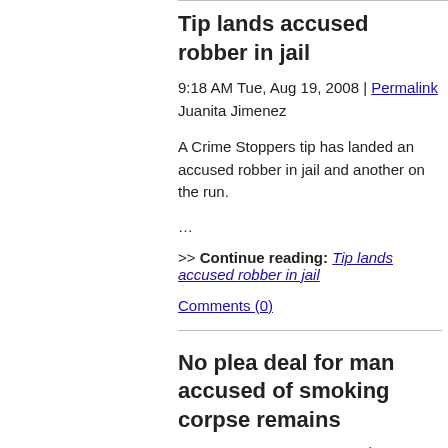Tip lands accused robber in jail
9:18 AM Tue, Aug 19, 2008 | Permalink
Juanita Jimenez
A Crime Stoppers tip has landed an accused robber in jail and another on the run.
…
>> Continue reading: Tip lands accused robber in jail
Comments (0)
No plea deal for man accused of smoking corpse remains
4:34 PM Mon, Aug 18, 2008 | Permalink